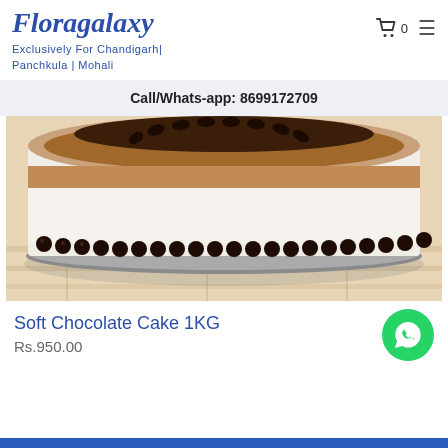Floragalaxy
Exclusively For Chandigarh| Panchkula | Mohali
Call/Whats-app: 8699172709
[Figure (photo): Close-up photo of a Soft Chocolate Cake 1KG on a wooden surface. The cake has white cream frosting on the sides, a ring of dark chocolate balls at the base, a band of cocoa crumble, and dark chocolate decoration on top.]
Soft Chocolate Cake 1KG
Rs.950.00